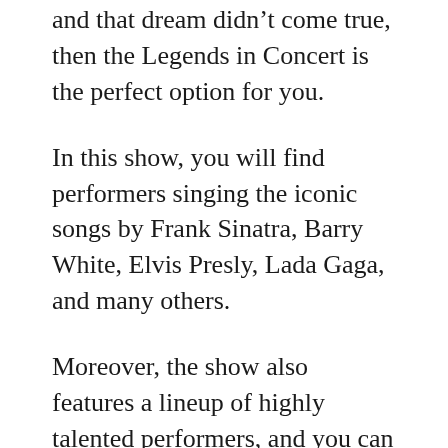and that dream didn't come true, then the Legends in Concert is the perfect option for you.
In this show, you will find performers singing the iconic songs by Frank Sinatra, Barry White, Elvis Presly, Lada Gaga, and many others.
Moreover, the show also features a lineup of highly talented performers, and you can see them live at Tropicana Las Vegas. Along with singing, you will also get to see wild costumes, backup dancers, and a fabulous orchestra.